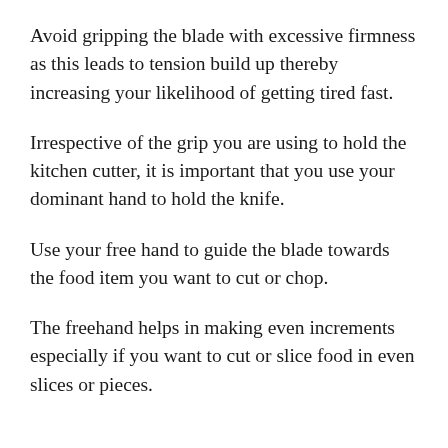Avoid gripping the blade with excessive firmness as this leads to tension build up thereby increasing your likelihood of getting tired fast.
Irrespective of the grip you are using to hold the kitchen cutter, it is important that you use your dominant hand to hold the knife.
Use your free hand to guide the blade towards the food item you want to cut or chop.
The freehand helps in making even increments especially if you want to cut or slice food in even slices or pieces.